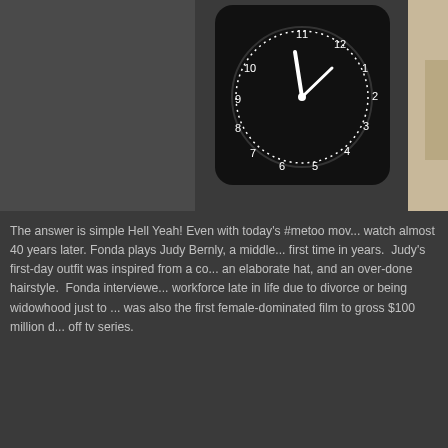[Figure (photo): Top portion of an image showing a dark analog clock with white numbers and hands, mounted on a gray surface, with what appears to be a person in a light-colored coat on the right edge.]
The answer is simple Hell Yeah! Even with today's #metoo mov... watch almost 40 years later. Fonda plays Judy Bernly, a middle... first time in years. Judy's first-day outfit was inspired from a co... an elaborate hat, and an over-done hairstyle. Fonda interviewe... workforce late in life due to divorce or being widowhood just to ... was also the first female-dominated film to gross $100 million d... off tv series.
[Figure (photo): Lower portion showing two people, one with dark hair, near what appears to be lockers or filing cabinets in a muted color background.]